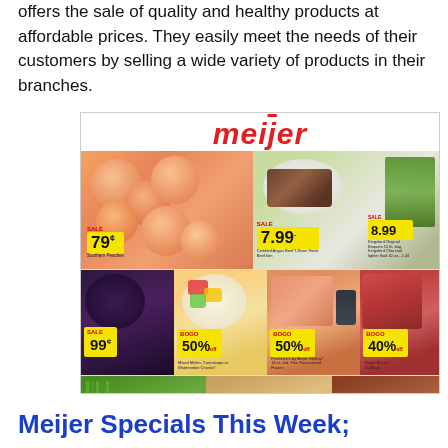offers the sale of quality and healthy products at affordable prices. They easily meet the needs of their customers by selling a wide variety of products in their branches.
[Figure (photo): Meijer grocery store advertisement showing peaches at 79¢, Certified Angus Beef T-Bone Steak at $7.99, Kingsford products at $8.99, Blackberries at 99¢, Mixed Melon/Cantaloupe/Watermelon Chunks BOGO 50% off, Frederick's by Meijer Shrimp BOGO 50% off, Wright Bacon BOGO 40% off, and bottom row showing asparagus, sandwich, and roast items.]
Meijer Specials This Week;